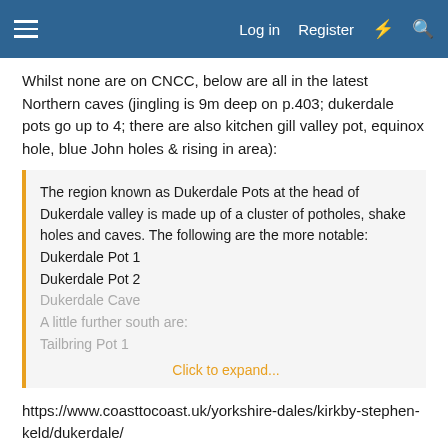Log in  Register
Whilst none are on CNCC, below are all in the latest Northern caves (jingling is 9m deep on p.403; dukerdale pots go up to 4; there are also kitchen gill valley pot, equinox hole, blue John holes & rising in area):
The region known as Dukerdale Pots at the head of Dukerdale valley is made up of a cluster of potholes, shake holes and caves. The following are the more notable:
Dukerdale Pot 1
Dukerdale Pot 2
Dukerdale Cave
A little further south are:
Tailbring Pot 1
Click to expand...
https://www.coasttocoast.uk/yorkshire-dales/kirkby-stephen-keld/dukerdale/
Hugh's cave (Alistair's link) is near haweswater